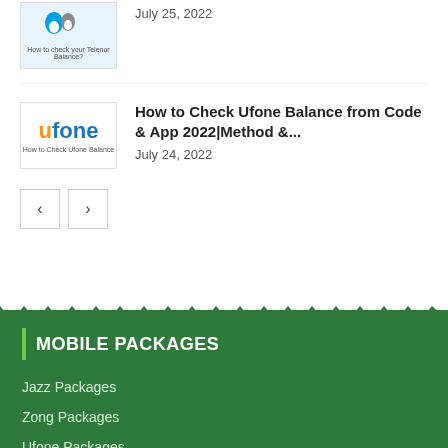[Figure (illustration): Telenor branded thumbnail image with small logo and balance check text]
July 25, 2022
[Figure (logo): Ufone logo with orange U and blue 'fone', with text 'How to Check Ufone Balance' below]
How to Check Ufone Balance from Code & App 2022|Method &...
July 24, 2022
Jazz Packages
Zong Packages
Ufone Packages